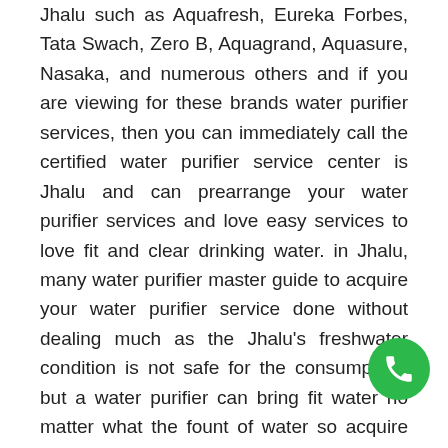Jhalu such as Aquafresh, Eureka Forbes, Tata Swach, Zero B, Aquagrand, Aquasure, Nasaka, and numerous others and if you are viewing for these brands water purifier services, then you can immediately call the certified water purifier service center is Jhalu and can prearrange your water purifier services and love easy services to love fit and clear drinking water. in Jhalu, many water purifier master guide to acquire your water purifier service done without dealing much as the Jhalu's freshwater condition is not safe for the consumption, but a water purifier can bring fit water no matter what the fount of water so acquire contemporary and water purifier and if you already have a water purifier then do not forget to acquire their service done particular time interval so that you can acquire fit water all time you wish to drink water.

drinking water is key as it promotes almost all body function like digestion, blood circulation, brain function,
[Figure (other): Green circular phone/WhatsApp call button in bottom-right corner]